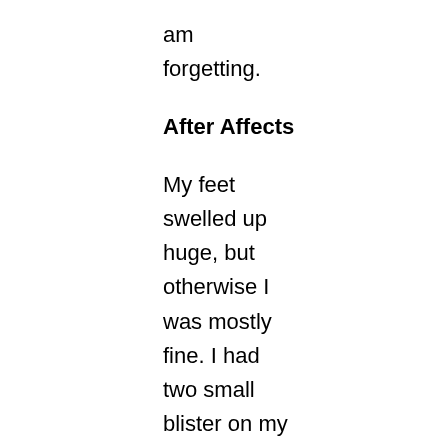am
forgetting.
After Affects
My feet
swelled up
huge, but
otherwise I
was mostly
fine. I had
two small
blister on my
feet, and one
blister on my
hand.